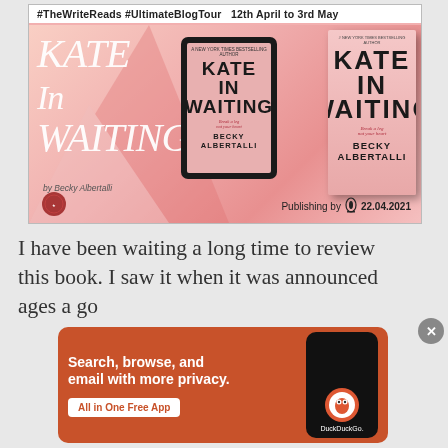[Figure (illustration): Blog tour promotional banner for 'Kate in Waiting' by Becky Albertalli. Header reads '#TheWriteReads #UltimateBlogTour 12th April to 3rd May'. Shows book cover with stylized script title, tablet/ebook version, and printed book cover. Bottom: 'Publishing by [Penguin logo] 22.04.2021'.]
I have been waiting a long time to review this book. I saw it when it was announced ages a go
[Figure (screenshot): DuckDuckGo advertisement banner on orange background. Text: 'Search, browse, and email with more privacy. All in One Free App'. Shows phone mockup with DuckDuckGo logo and text 'DuckDuckGo.']